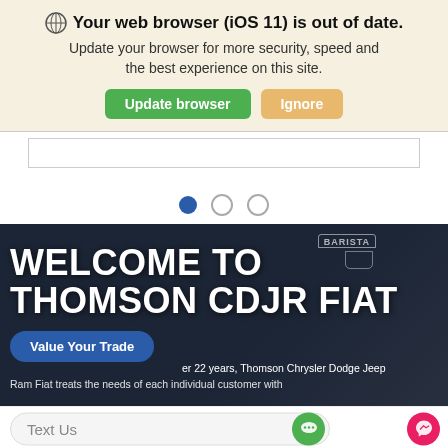Your web browser (iOS 11) is out of date. Update your browser for more security, speed and the best experience on this site.
Update browser | Ignore
[Figure (screenshot): Slider/carousel placeholder box]
[Figure (infographic): Three pagination dots, first filled blue, two empty]
WELCOME TO THOMSON CDJR FIAT
Value Your Trade
er 22 years, Thomson Chrysler Dodge Jeep Ram Fiat treats the needs of each individual customer with
Text Us
Search   Saved   Share   Contact